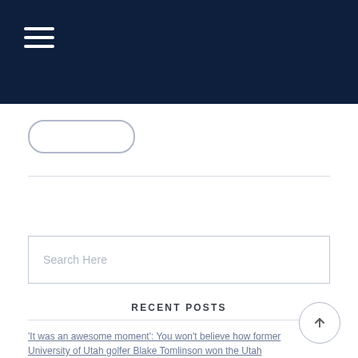Navigation bar with hamburger menu
[Figure (other): Pill-shaped button outline]
Search Here
RECENT POSTS
'It was an awesome moment': You won't believe how former University of Utah golfer Blake Tomlinson won the Utah